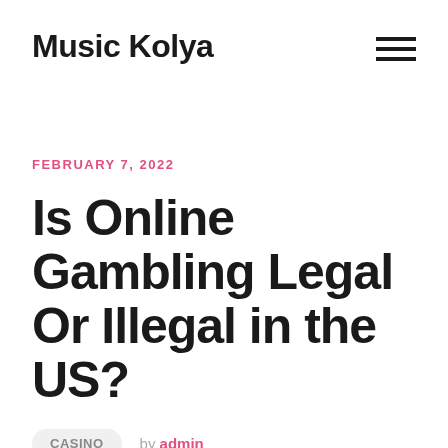Music Kolya
FEBRUARY 7, 2022
Is Online Gambling Legal Or Illegal in the US?
CASINO   by admin